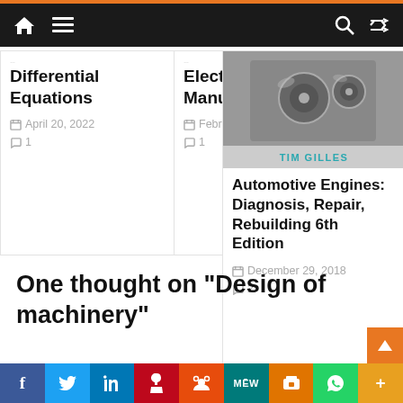Navigation bar with home, menu, search, and shuffle icons
Differential Equations
April 20, 2022  1
Electronics Manufacturing.
February 25, 2022  1
[Figure (photo): Book cover for Automotive Engines: Diagnosis, Repair, Rebuilding 6th Edition by Tim Gilles]
Automotive Engines: Diagnosis, Repair, Rebuilding 6th Edition
December 29, 2018  2
One thought on “Design of machinery”
f  Twitter  in  Pinterest  Reddit  MW  Mix  WhatsApp  More